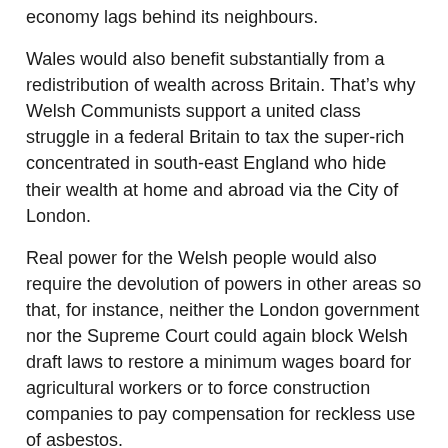economy lags behind its neighbours.
Wales would also benefit substantially from a redistribution of wealth across Britain. That’s why Welsh Communists support a united class struggle in a federal Britain to tax the super-rich concentrated in south-east England who hide their wealth at home and abroad via the City of London.
Real power for the Welsh people would also require the devolution of powers in other areas so that, for instance, neither the London government nor the Supreme Court could again block Welsh draft laws to restore a minimum wages board for agricultural workers or to force construction companies to pay compensation for reckless use of asbestos.
“People’s parliament” for Wales would extend the franchise to 16-year olds, empower electors to dismiss their Assembly Members by popular vote and allow petitioners with mass support to initiate parliamentary debates, resolutions and